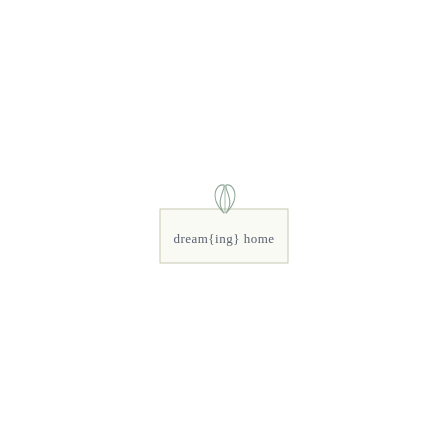[Figure (logo): dream{ing} home logo — stylized intertwined 'dh' monogram above a rectangular border containing the text 'dream{ing} home' in muted slate/grey serif font]